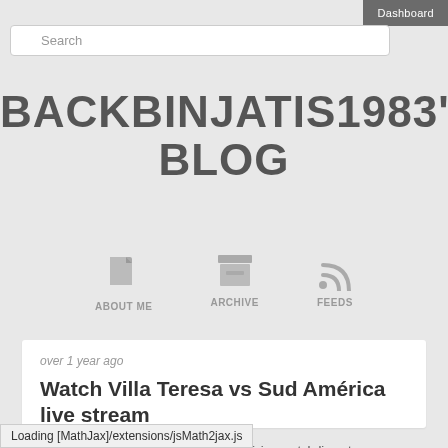Dashboard
Search
BACKBINJATIS1983'S BLOG
[Figure (infographic): Navigation icons: About Me (document icon), Archive (box icon), Feeds (RSS icon)]
over 1 year ago
Watch Villa Teresa vs Sud América live stream
Competition: Villa Teresa vs Sud América watch live stream
27.11.2020
Loading [MathJax]/extensions/jsMath2jax.js